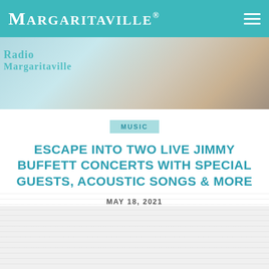MARGARITAVILLE
[Figure (photo): Hero image showing person with Margaritaville branding overlay]
MUSIC
ESCAPE INTO TWO LIVE JIMMY BUFFETT CONCERTS WITH SPECIAL GUESTS, ACOUSTIC SONGS & MORE
MAY 18, 2021
[Figure (photo): Bottom gray/light content area image]